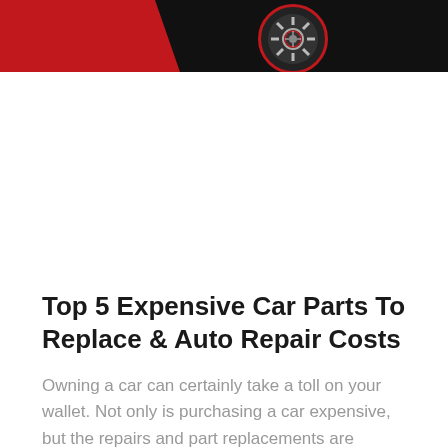[Figure (illustration): Banner image with black background, red diagonal shape on the left side, and a circular emblem with a gear/engine part in the center-right area]
Top 5 Expensive Car Parts To Replace & Auto Repair Costs
Owning a car can certainly take a toll on your wallet. Not only is purchasing a car expensive, but the repairs and part replacements are